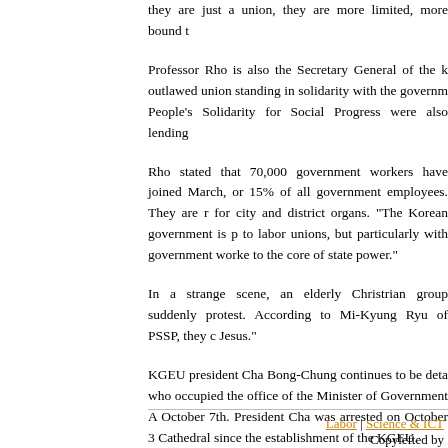they are just a union, they are more limited, more bound t
Professor Rho is also the Secretary General of the outlawed union standing in solidarity with the governm People's Solidarity for Social Progress were also lending
Rho stated that 70,000 government workers have joined March, or 15% of all government employees. They are r for city and district organs. "The Korean government is to labor unions, but particularly with government worke to the core of state power."
In a strange scene, an elderly Christrian group suddenly protest. According to Mi-Kyung Ryu of PSSP, they c Jesus."
KGEU president Cha Bong-Chung continues to be deta who occupied the office of the Minister of Government A October 7th. President Cha was arrested on October 3 Cathedral since the establishment of the KGEU.
Labor | Science & ICT
Copylefted by